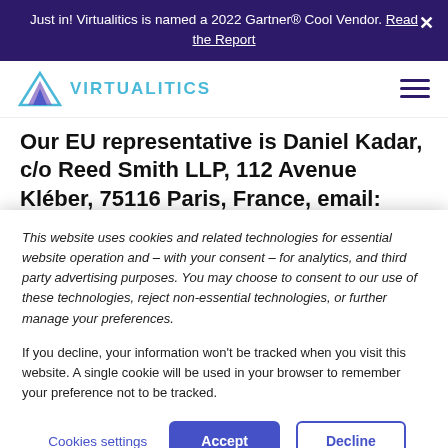Just in! Virtualitics is named a 2022 Gartner® Cool Vendor. Read the Report
[Figure (logo): Virtualitics logo with mountain/triangle icon and teal text]
Our EU representative is Daniel Kadar, c/o Reed Smith LLP, 112 Avenue Kléber, 75116 Paris, France, email: Privacy-Virtualitics@reedsmith.com, phone: +33 (0)1...
This website uses cookies and related technologies for essential website operation and – with your consent – for analytics, and third party advertising purposes. You may choose to consent to our use of these technologies, reject non-essential technologies, or further manage your preferences.
If you decline, your information won't be tracked when you visit this website. A single cookie will be used in your browser to remember your preference not to be tracked.
Cookies settings  Accept  Decline